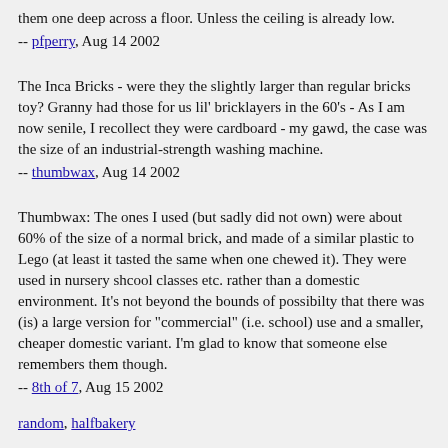them one deep across a floor. Unless the ceiling is already low.
-- pfperry, Aug 14 2002
The Inca Bricks - were they the slightly larger than regular bricks toy? Granny had those for us lil' bricklayers in the 60's - As I am now senile, I recollect they were cardboard - my gawd, the case was the size of an industrial-strength washing machine.
-- thumbwax, Aug 14 2002
Thumbwax: The ones I used (but sadly did not own) were about 60% of the size of a normal brick, and made of a similar plastic to Lego (at least it tasted the same when one chewed it). They were used in nursery shcool classes etc. rather than a domestic environment. It's not beyond the bounds of possibilty that there was (is) a large version for "commercial" (i.e. school) use and a smaller, cheaper domestic variant. I'm glad to know that someone else remembers them though.
-- 8th of 7, Aug 15 2002
random, halfbakery